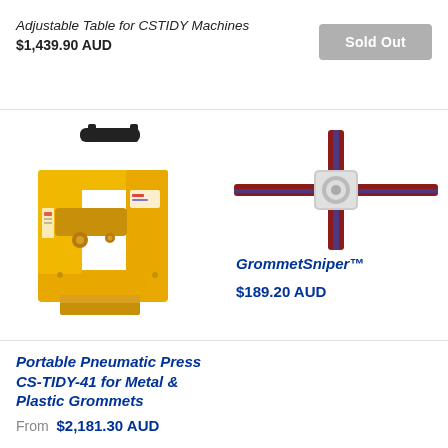Adjustable Table for CSTIDY Machines
$1,439.90 AUD
Sold Out
[Figure (photo): Yellow Portable Pneumatic Press CS-TIDY-41 machine for metal and plastic grommets]
[Figure (photo): GrommetSniper tool - a cross-shaped grey and red grommet sniper device]
GrommetSniper™
$189.20 AUD
Portable Pneumatic Press CS-TIDY-41 for Metal & Plastic Grommets
From $2,181.30 AUD